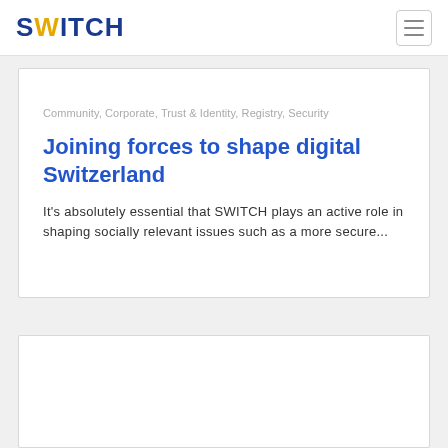SWITCH
Community, Corporate, Trust & Identity, Registry, Security
Joining forces to shape digital Switzerland
It's absolutely essential that SWITCH plays an active role in shaping socially relevant issues such as a more secure...